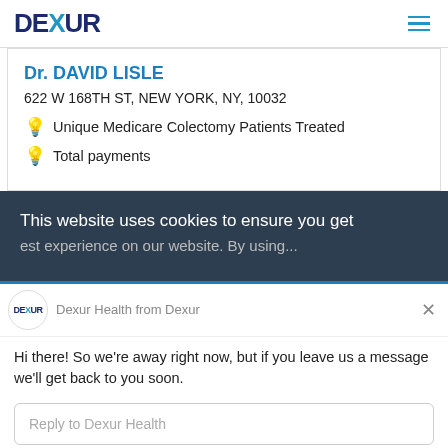DEXUR
Dr. DAVID LISLE
622 W 168TH ST, NEW YORK, NY, 10032
Unique Medicare Colectomy Patients Treated
Total payments
This website uses cookies to ensure you get the best experience on our website. By using...
Dexur Health from Dexur
Hi there! So we're away right now, but if you leave us a message we'll get back to you soon.
Reply to Dexur Health
Chat ⚡ by Drift